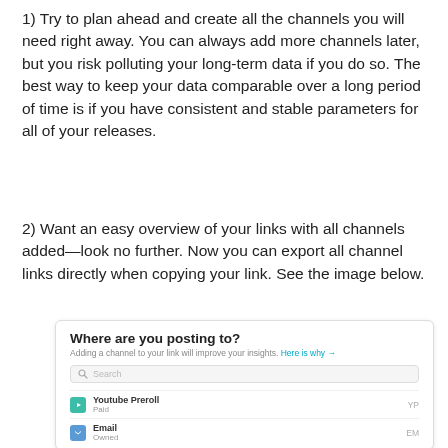1) Try to plan ahead and create all the channels you will need right away. You can always add more channels later, but you risk polluting your long-term data if you do so. The best way to keep your data comparable over a long period of time is if you have consistent and stable parameters for all of your releases.
2) Want an easy overview of your links with all channels added—look no further. Now you can export all channel links directly when copying your link. See the image below.
[Figure (screenshot): A UI dialog titled 'Where are you posting to?' with subtitle 'Adding a channel to your link will improve your insights. Here is why →', a search box, and two channel rows: 'Youtube Preroll / Paid' with code YP, and 'Email / Owned' with code EM.]